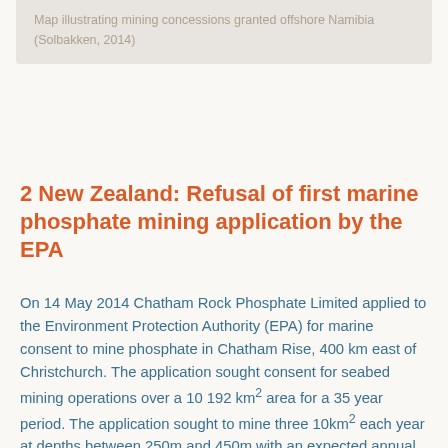Map illustrating mining concessions granted offshore Namibia (Solbakken, 2014)
2 New Zealand: Refusal of first marine phosphate mining application by the EPA
On 14 May 2014 Chatham Rock Phosphate Limited applied to the Environment Protection Authority (EPA) for marine consent to mine phosphate in Chatham Rise, 400 km east of Christchurch. The application sought consent for seabed mining operations over a 10 192 km² area for a 35 year period. The application sought to mine three 10km² each year at depths between 250m and 450m with an expected annual production of up to 1.5 million tonnes. In the first five years Chatham Rock Phosphate Limited planned to mine no more of 200 km². The annual mining